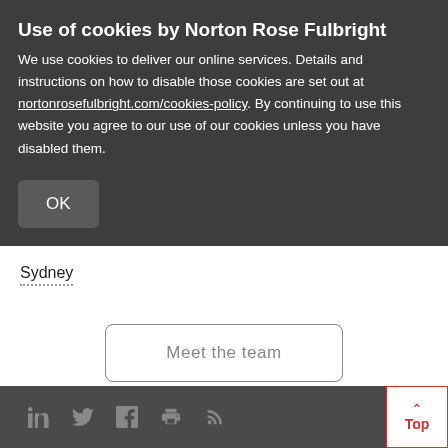Use of cookies by Norton Rose Fulbright
We use cookies to deliver our online services. Details and instructions on how to disable those cookies are set out at nortonrosefulbright.com/cookies-policy. By continuing to use this website you agree to our use of our cookies unless you have disabled them.
OK
Sydney
Meet the team
Social icons: LinkedIn, Twitter, Facebook, Print, RSS | Top button